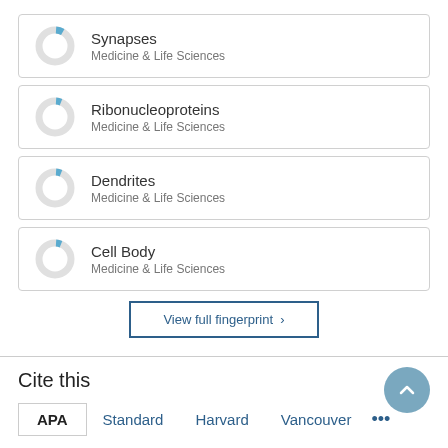[Figure (donut-chart): Small donut chart with small blue segment, labeled Synapses, Medicine & Life Sciences]
[Figure (donut-chart): Small donut chart with small blue segment, labeled Ribonucleoproteins, Medicine & Life Sciences]
[Figure (donut-chart): Small donut chart with small blue segment, labeled Dendrites, Medicine & Life Sciences]
[Figure (donut-chart): Small donut chart with small blue segment, labeled Cell Body, Medicine & Life Sciences]
View full fingerprint
Cite this
APA  Standard  Harvard  Vancouver  ...